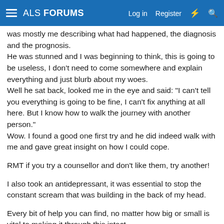ALS FORUMS   Log in   Register
was mostly me describing what had happened, the diagnosis and the prognosis.
He was stunned and I was beginning to think, this is going to be useless, I don't need to come somewhere and explain everything and just blurb about my woes.
Well he sat back, looked me in the eye and said: "I can't tell you everything is going to be fine, I can't fix anything at all here. But I know how to walk the journey with another person."
Wow. I found a good one first try and he did indeed walk with me and gave great insight on how I could cope.
RMT if you try a counsellor and don't like them, try another!
I also took an antidepressant, it was essential to stop the constant scream that was building in the back of my head.
Every bit of help you can find, no matter how big or small is vital to making it through this intact.